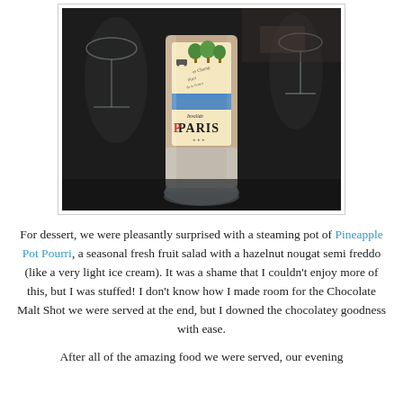[Figure (photo): A close-up photo of a shot glass with a Paris-themed illustrated label, placed on a dark table with wine glasses visible in the blurred background.]
For dessert, we were pleasantly surprised with a steaming pot of Pineapple Pot Pourri, a seasonal fresh fruit salad with a hazelnut nougat semi freddo (like a very light ice cream). It was a shame that I couldn't enjoy more of this, but I was stuffed! I don't know how I made room for the Chocolate Malt Shot we were served at the end, but I downed the chocolatey goodness with ease.
After all of the amazing food we were served, our evening